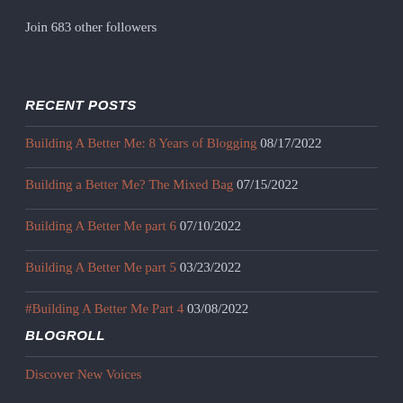Join 683 other followers
RECENT POSTS
Building A Better Me: 8 Years of Blogging 08/17/2022
Building a Better Me? The Mixed Bag 07/15/2022
Building A Better Me part 6 07/10/2022
Building A Better Me part 5 03/23/2022
#Building A Better Me Part 4 03/08/2022
BLOGROLL
Discover New Voices